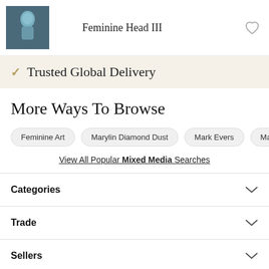Feminine Head III
✓ Trusted Global Delivery
More Ways To Browse
Feminine Art
Marylin Diamond Dust
Mark Evers
Martin
View All Popular Mixed Media Searches
Categories
Trade
Sellers